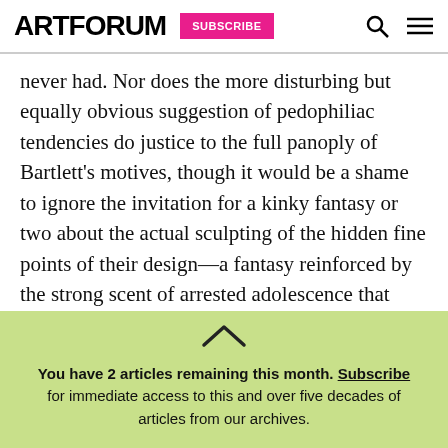ARTFORUM | SUBSCRIBE
never had. Nor does the more disturbing but equally obvious suggestion of pedophiliac tendencies do justice to the full panoply of Bartlett's motives, though it would be a shame to ignore the invitation for a kinky fantasy or two about the actual sculpting of the hidden fine points of their design—a fantasy reinforced by the strong scent of arrested adolescence that hangs in the air around his gang of kids. The accepted (seemingly desired) model of
You have 2 articles remaining this month. Subscribe for immediate access to this and over five decades of articles from our archives.